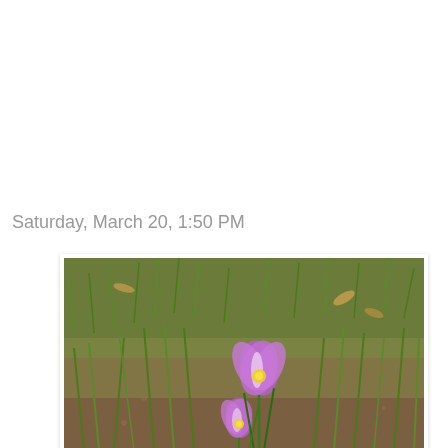Saturday, March 20, 1:50 PM
[Figure (photo): A photograph of two purple crocus flowers blooming in a grassy, earthy ground with dead leaves and sparse grass. The flowers have purple petals with white and yellow centers. Taken outdoors in natural light.]